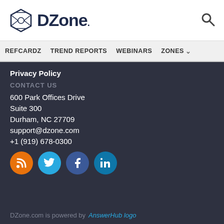DZone. [logo] [search icon]
REFCARDZ  TREND REPORTS  WEBINARS  ZONES
Privacy Policy
CONTACT US
600 Park Offices Drive
Suite 300
Durham, NC 27709
support@dzone.com
+1 (919) 678-0300
[Figure (illustration): Social media icons: RSS (orange), Twitter (blue), Facebook (dark blue), LinkedIn (blue)]
DZone.com is powered by AnswerHub logo